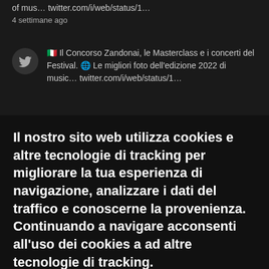of mus… twitter.com/i/web/status/1…
4 settimane ago
🇮🇹 Il Concorso Zandonai, le Masterclass e i concerti del Festival. 🌐 Le migliori foto dell'edizione 2022 di music… twitter.com/i/web/status/1…
Il nostro sito web utilizza cookies e altre tecnologie di tracking per migliorare la tua esperienza di navigazione, analizzare i dati del traffico e conoscerne la provenienza. Continuando a navigare acconsenti all'uso dei cookies a ad altre tecnologie di tracking.
Privacy Policy Semplificata
Accetto